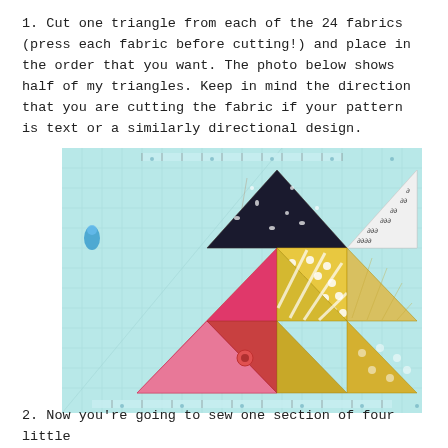1. Cut one triangle from each of the 24 fabrics (press each fabric before cutting!) and place in the order that you want. The photo below shows half of my triangles. Keep in mind the direction that you are cutting the fabric if your pattern is text or a similarly directional design.
[Figure (photo): Photo of fabric triangles arranged in a star/pinwheel pattern on a light blue cutting mat with grid lines. Triangles include: tan/beige textured at top, white with pattern, black with white bird print, black and white squiggle print, hot pink solid, yellow with white dots, yellow with white diagonal stripes, yellow solid, pink/red floral, and pink/rose patterned fabrics.]
2. Now you're going to sew one section of four little